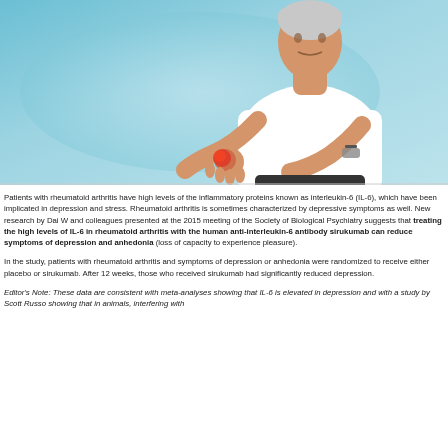[Figure (photo): Elderly person in white t-shirt holding their wrist/hand in pain against a blue-green gradient background, with reddish inflammation visible at the wrist joint.]
Patients with rheumatoid arthritis have high levels of the inflammatory proteins known as interleukin-6 (IL-6), which have been implicated in depression and stress. Rheumatoid arthritis is sometimes characterized by depressive symptoms as well. New research by Dai W and colleagues presented at the 2015 meeting of the Society of Biological Psychiatry suggests that treating the high levels of IL-6 in rheumatoid arthritis with the human anti-interleukin-6 antibody sirukumab can reduce symptoms of depression and anhedonia (loss of capacity to experience pleasure).
In the study, patients with rheumatoid arthritis and symptoms of depression or anhedonia were randomized to receive either placebo or sirukumab. After 12 weeks, those who received sirukumab had significantly reduced depression.
Editor's Note: These data are consistent with meta-analyses showing that IL-6 is elevated in depression and with a study by Scott Russo showing that in animals, interfering with